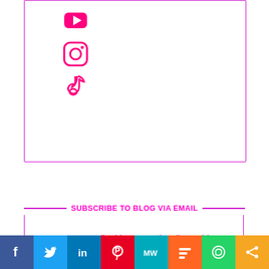[Figure (illustration): Social media icons: YouTube (play button), Instagram (camera), TikTok (music note) in hot pink, inside a purple-bordered box]
SUBSCRIBE TO BLOG VIA EMAIL
Enter your email address to subscribe to this blog and receive notifications of new posts by email.
Join 424 other subscribers
[Figure (other): Email address input field with placeholder text 'Email Address']
[Figure (infographic): Social sharing bar with icons: Facebook (blue), Twitter (light blue), LinkedIn (blue), Pinterest (red), MeWe (teal), Mix (orange), WhatsApp (green), Share (orange)]